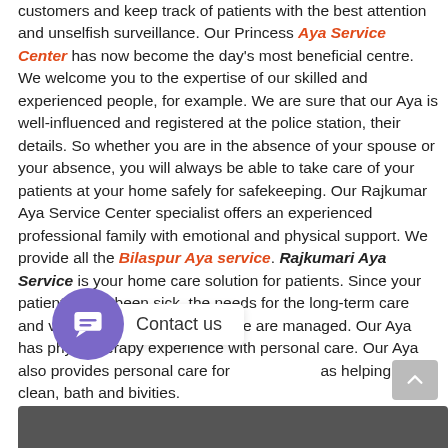customers and keep track of patients with the best attention and unselfish surveillance. Our Princess Aya Service Center has now become the day's most beneficial centre. We welcome you to the expertise of our skilled and experienced people, for example. We are sure that our Aya is well-influenced and registered at the police station, their details. So whether you are in the absence of your spouse or your absence, you will always be able to take care of your patients at your home safely for safekeeping. Our Rajkumar Aya Service Center specialist offers an experienced professional family with emotional and physical support. We provide all the Bilaspur Aya service. Rajkumari Aya Service is your home care solution for patients. Since your patients have been sick, the needs for the long-term care and various activities of the house are managed. Our Aya has physiotherapy experience with personal care. Our Aya also provides personal care for as helping to clean, bath and b...vities.
[Figure (other): Chat widget with purple circular icon containing a chat bubble symbol and a white label reading 'Contact us']
[Figure (other): Gray scroll-to-top button in the bottom right corner]
[Figure (photo): Partial bottom image strip, appears to be a photo (dark/gray)]